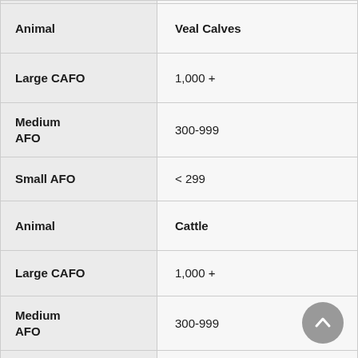|  |  |
| --- | --- |
| Animal | Veal Calves |
| Large CAFO | 1,000 + |
| Medium AFO | 300-999 |
| Small AFO | < 299 |
| Animal | Cattle |
| Large CAFO | 1,000 + |
| Medium AFO | 300-999 |
| Small AFO | < 299 |